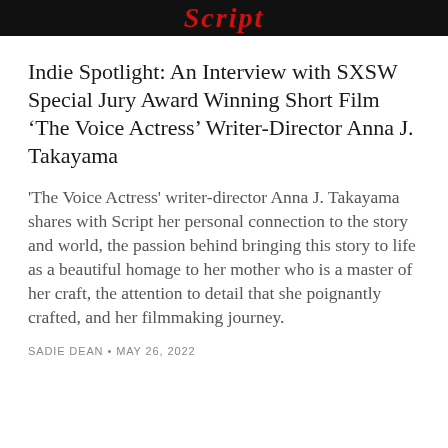Script
Indie Spotlight: An Interview with SXSW Special Jury Award Winning Short Film ‘The Voice Actress’ Writer-Director Anna J. Takayama
'The Voice Actress' writer-director Anna J. Takayama shares with Script her personal connection to the story and world, the passion behind bringing this story to life as a beautiful homage to her mother who is a master of her craft, the attention to detail that she poignantly crafted, and her filmmaking journey.
SADIE DEAN • MAY 26, 2022